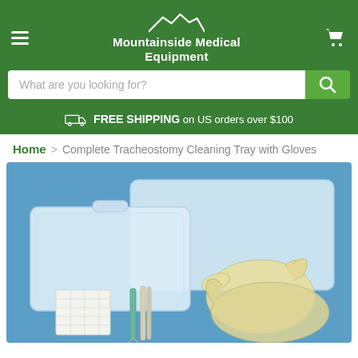[Figure (logo): Mountainside Medical Equipment logo with mountain graphic on green header background]
What are you looking for?
FREE SHIPPING on US orders over $100
Home > Complete Tracheostomy Cleaning Tray with Gloves
[Figure (photo): Product photo of a Complete Tracheostomy Cleaning Tray with Gloves on a blue background, showing two clear plastic trays, gauze pads, tweezers/forceps, and latex gloves]